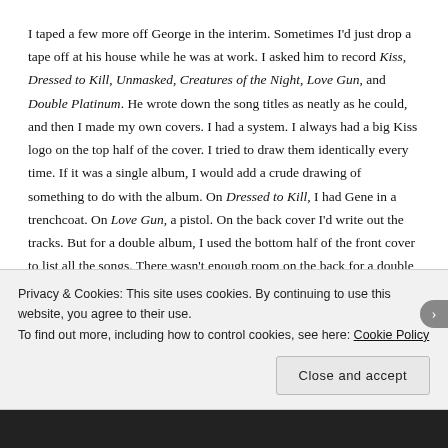I taped a few more off George in the interim. Sometimes I'd just drop a tape off at his house while he was at work. I asked him to record Kiss, Dressed to Kill, Unmasked, Creatures of the Night, Love Gun, and Double Platinum. He wrote down the song titles as neatly as he could, and then I made my own covers. I had a system. I always had a big Kiss logo on the top half of the cover. I tried to draw them identically every time. If it was a single album, I would add a crude drawing of something to do with the album. On Dressed to Kill, I had Gene in a trenchcoat. On Love Gun, a pistol. On the back cover I'd write out the tracks. But for a double album, I used the bottom half of the front cover to list all the songs. There wasn't enough room on the back for a double album tracklist once I cut (or punched) out the two holes for the tape shell. The back cover also had the year of release,
Privacy & Cookies: This site uses cookies. By continuing to use this website, you agree to their use.
To find out more, including how to control cookies, see here: Cookie Policy
Close and accept